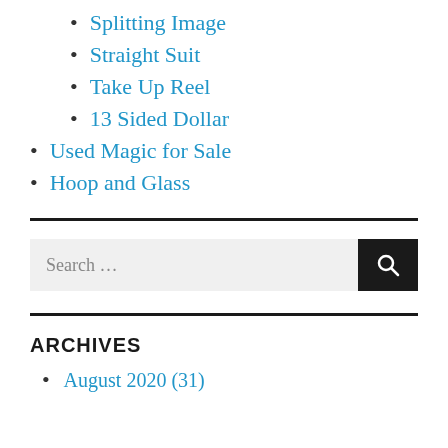Splitting Image
Straight Suit
Take Up Reel
13 Sided Dollar
Used Magic for Sale
Hoop and Glass
ARCHIVES
August 2020 (31)